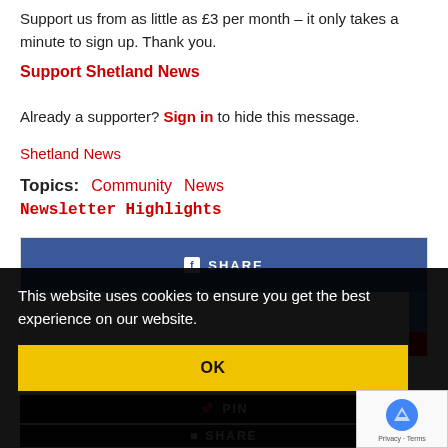Support us from as little as £3 per month – it only takes a minute to sign up. Thank you.
Support Shetland News
Already a supporter? Sign in to hide this message.
Shetland News
Topics: Community  News  Newsletter Highlights
[Figure (screenshot): Social share widget showing Facebook share button area with blue and red accents]
This website uses cookies to ensure you get the best experience on our website.
OK